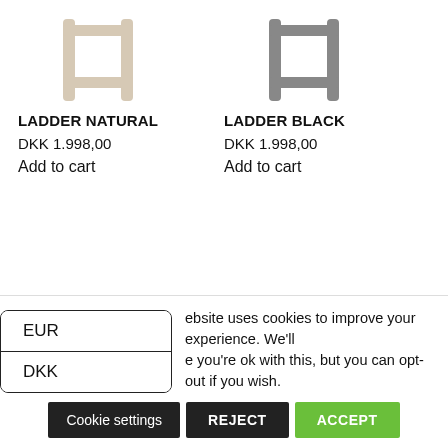[Figure (photo): Ladder in natural/beige wood finish, H-shape, top portion visible]
LADDER NATURAL
DKK 1.998,00
Add to cart
[Figure (photo): Ladder in black/grey finish, H-shape, top portion visible]
LADDER BLACK
DKK 1.998,00
Add to cart
EUR
DKK
ebsite uses cookies to improve your experience. We'll e you're ok with this, but you can opt-out if you wish.
Cookie settings
REJECT
ACCEPT